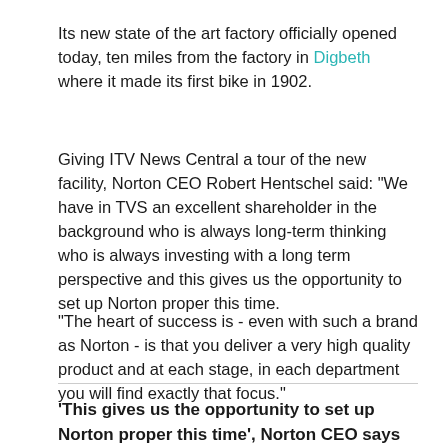Its new state of the art factory officially opened today, ten miles from the factory in Digbeth where it made its first bike in 1902.
Giving ITV News Central a tour of the new facility, Norton CEO Robert Hentschel said: "We have in TVS an excellent shareholder in the background who is always long-term thinking who is always investing with a long term perspective and this gives us the opportunity to set up Norton proper this time.
"The heart of success is - even with such a brand as Norton - is that you deliver a very high quality product and at each stage, in each department you will find exactly that focus."
'This gives us the opportunity to set up Norton proper this time', Norton CEO says